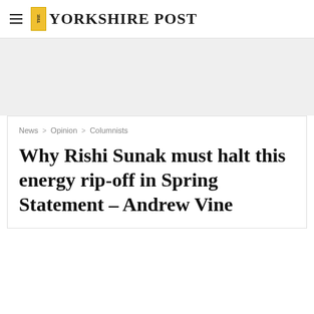THE YORKSHIRE POST
News > Opinion > Columnists
Why Rishi Sunak must halt this energy rip-off in Spring Statement – Andrew Vine